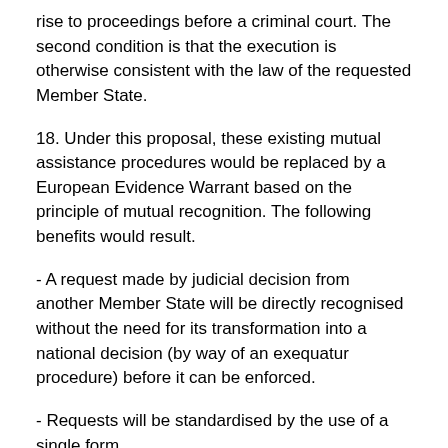rise to proceedings before a criminal court. The second condition is that the execution is otherwise consistent with the law of the requested Member State.
18. Under this proposal, these existing mutual assistance procedures would be replaced by a European Evidence Warrant based on the principle of mutual recognition. The following benefits would result.
- A request made by judicial decision from another Member State will be directly recognised without the need for its transformation into a national decision (by way of an exequatur procedure) before it can be enforced.
- Requests will be standardised by the use of a single form.